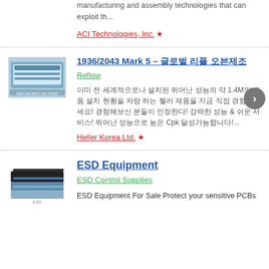manufacturing and assembly technologies that can exploit th...
ACI Technologies, Inc. ★
1936/2043 Mark 5 – 글로벌 리플 오븐제조
Reflow
[Figure (photo): Photo of a reflow oven machine (Heller 1936/2043 Mark 5)]
이미 전 세계적으로나 설치된 뛰어난 성능의 약 1.4M의 제품 설치 현황을 자랑 하는 헬러 제품을 지금 직접 경험해보세요! 경험해보신 분들이 인정한다! 강력한 성능 & 쉬운 서비스! 뛰어난 성능으로 높은 Cpk 달성가능합니다!...
Heller Korea Ltd. ★
ESD Equipment
ESD Control Supplies
[Figure (photo): Photo of ESD control supply mats/sheets in blue and black]
ESD Equipment For Sale Protect your sensitive PCBs